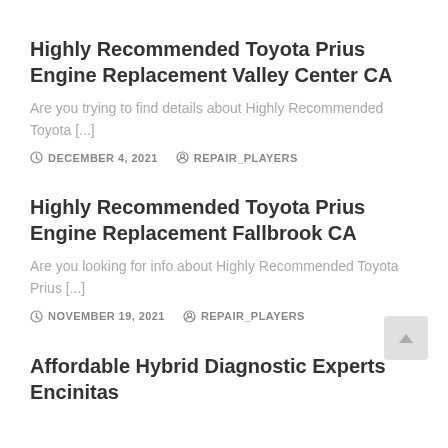Highly Recommended Toyota Prius Engine Replacement Valley Center CA
Are you trying to find details about Highly Recommended Toyota [...]
DECEMBER 4, 2021   REPAIR_PLAYERS
Highly Recommended Toyota Prius Engine Replacement Fallbrook CA
Are you looking for info about Highly Recommended Toyota Prius [...]
NOVEMBER 19, 2021   REPAIR_PLAYERS
Affordable Hybrid Diagnostic Experts Encinitas